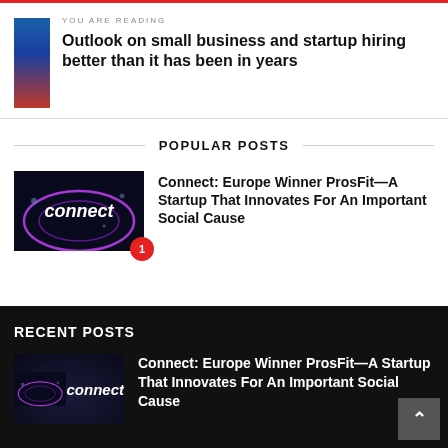YOU ARE READING
Outlook on small business and startup hiring better than it has been in years
POPULAR POSTS
Connect: Europe Winner ProsFit—A Startup That Innovates For An Important Social Cause
RECENT POSTS
Connect: Europe Winner ProsFit—A Startup That Innovates For An Important Social Cause